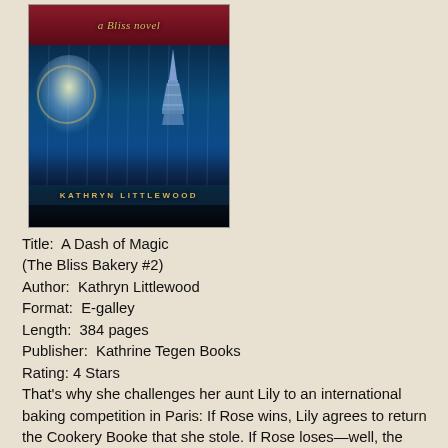[Figure (illustration): Book cover for 'A Dash of Magic' (a Bliss novel) by Kathryn Littlewood, showing a wintry Paris scene with the Eiffel Tower lit up with lights, magical sparkles and swirls, against a dark blue night sky. A banner at the top reads 'a Bliss novel' and the author name 'KATHRYN LITTLEWOOD' appears in gold letters near the bottom.]
Title:  A Dash of Magic (The Bliss Bakery #2)
Author:  Kathryn Littlewood
Format:  E-galley
Length:  384 pages
Publisher:  Kathrine Tegen Books
Rating: 4 Stars
That's why she challenges her aunt Lily to an international baking competition in Paris: If Rose wins, Lily agrees to return the Cookery Booke that she stole. If Rose loses—well, the consequences are too ugly to think about.